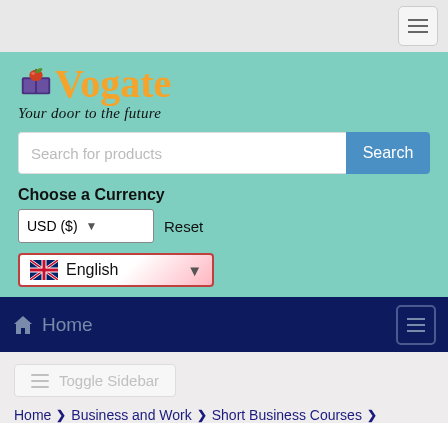[Figure (screenshot): Vogate website header screenshot showing logo, search bar, currency selector, language selector, navigation bar, toggle sidebar button, and breadcrumb navigation]
Vogate — Your door to the future
Search for products
Choose a Currency
USD ($)  Reset
English
Home
Toggle Sidebar
Home > Business and Work > Short Business Courses >